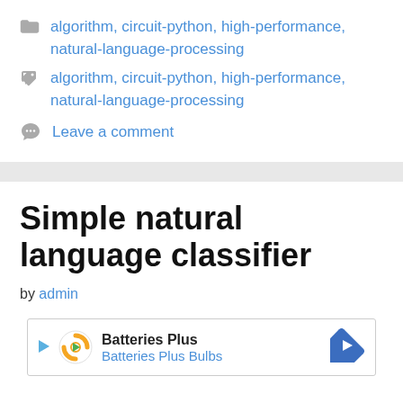algorithm, circuit-python, high-performance, natural-language-processing
algorithm, circuit-python, high-performance, natural-language-processing
Leave a comment
Simple natural language classifier
by admin
[Figure (other): Advertisement banner for Batteries Plus / Batteries Plus Bulbs with logo and navigation arrow icon]